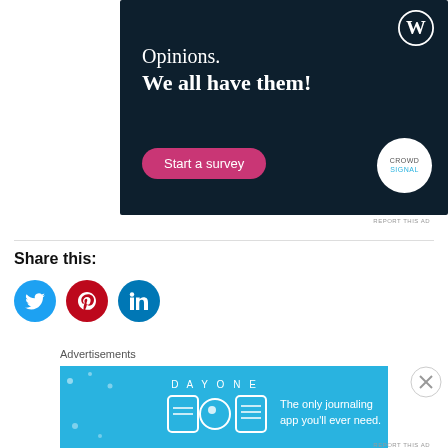[Figure (illustration): WordPress/Crowdsignal advertisement with dark navy background. Text reads 'Opinions. We all have them!' with a pink 'Start a survey' button and Crowdsignal logo badge. WordPress logo in top right corner.]
REPORT THIS AD
Share this:
[Figure (illustration): Three social media share icons: Twitter (blue circle), Pinterest (red circle), LinkedIn (blue circle)]
Advertisements
[Figure (illustration): Day One journaling app advertisement on blue background. Text reads 'The only journaling app you'll ever need.']
REPORT THIS AD